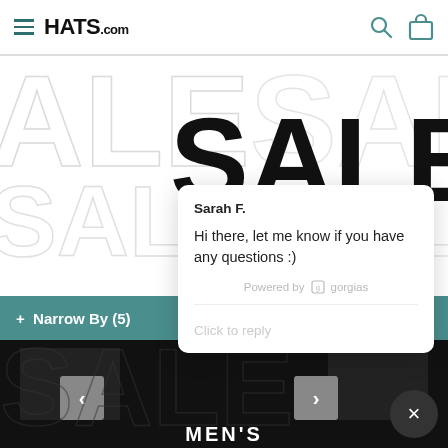HATS.com
SALE
+ Narrow By (5)
Sarah F.
Hi there, let me know if you have any questions :)
Powered by gorgias
Click to reply
MEN'S